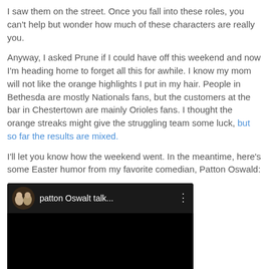I saw them on the street. Once you fall into these roles, you can't help but wonder how much of these characters are really you.
Anyway, I asked Prune if I could have off this weekend and now I'm heading home to forget all this for awhile. I know my mom will not like the orange highlights I put in my hair. People in Bethesda are mostly Nationals fans, but the customers at the bar in Chestertown are mainly Orioles fans. I thought the orange streaks might give the struggling team some luck, but so far the results are mixed.
I'll let you know how the weekend went. In the meantime, here's some Easter humor from my favorite comedian, Patton Oswald:
[Figure (screenshot): Embedded video player showing a YouTube-style video thumbnail with a dark background. The video header shows a circular thumbnail image of what appears to be figurines, followed by the title 'patton Oswalt talk...' and a three-dot menu icon.]